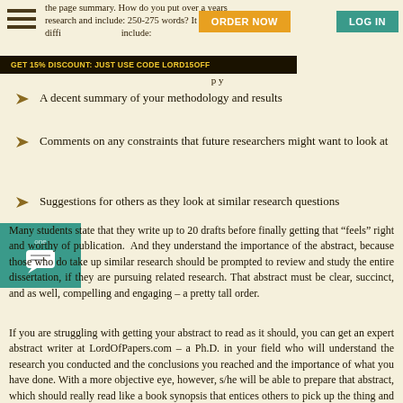the page summary. How do you put over a years research and include: 250-275 words? It is really difficult and should include:
GET 15% DISCOUNT: JUST USE CODE LORD15OFF
A decent summary of your methodology and results
Comments on any constraints that future researchers might want to look at
Suggestions for others as they look at similar research questions
Many students state that they write up to 20 drafts before finally getting that “feels” right and worthy of publication. And they understand the importance of the abstract, because those who do take up similar research should be prompted to review and study the entire dissertation, if they are pursuing related research. That abstract must be clear, succinct, and as well, compelling and engaging – a pretty tall order.
If you are struggling with getting your abstract to read as it should, you can get an expert abstract writer at LordOfPapers.com – a Ph.D. in your field who will understand the research you conducted and the conclusions you reached and the importance of what you have done. With a more objective eye, however, s/he will be able to prepare that abstract, which should really read like a book synopsis that entices others to pick up the thing and read it. Call us today and get an abstract